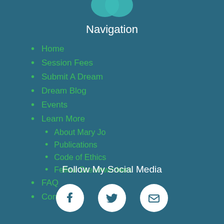[Figure (logo): Partial logo visible at top, teal/green colors on dark teal background]
Navigation
Home
Session Fees
Submit A Dream
Dream Blog
Events
Learn More
About Mary Jo
Publications
Code of Ethics
Fellow Dreamworkers
FAQ
Contact
Follow My Social Media
[Figure (infographic): Three white circular social media icons: Facebook, Twitter, Email]